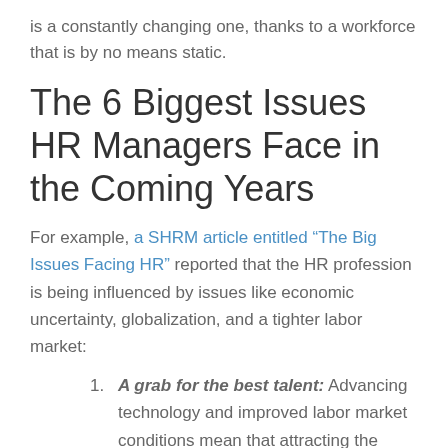is a constantly changing one, thanks to a workforce that is by no means static.
The 6 Biggest Issues HR Managers Face in the Coming Years
For example, a SHRM article entitled “The Big Issues Facing HR” reported that the HR profession is being influenced by issues like economic uncertainty, globalization, and a tighter labor market:
A grab for the best talent: Advancing technology and improved labor market conditions mean that attracting the most qualified workers is a huge priority for companies. One of the biggest issues